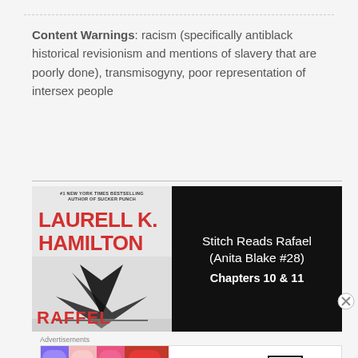Content Warnings: racism (specifically antiblack historical revisionism and mentions of slavery that are poorly done), transmisogyny, poor representation of intersex people
[Figure (screenshot): Book promotion image for 'Rafael' by Laurell K. Hamilton (Anita Blake #28) showing book cover on left and text 'Stitch Reads Rafael (Anita Blake #28) Chapters 10 & 11' on dark background on right]
Advertisements
[Figure (photo): MAC Cosmetics advertisement showing lipsticks in purple, pink, hot pink and red with MAC logo and SHOP NOW button]